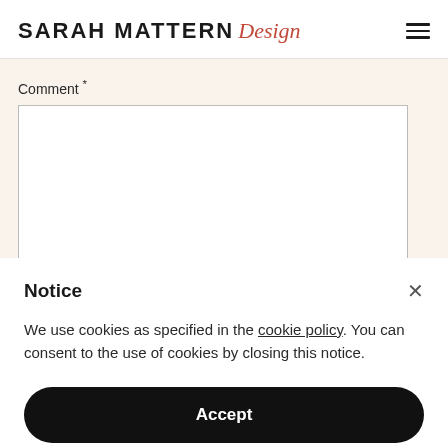SARAH MATTERN Design
Comment *
Notice
We use cookies as specified in the cookie policy. You can consent to the use of cookies by closing this notice.
Accept
Learn more and customize